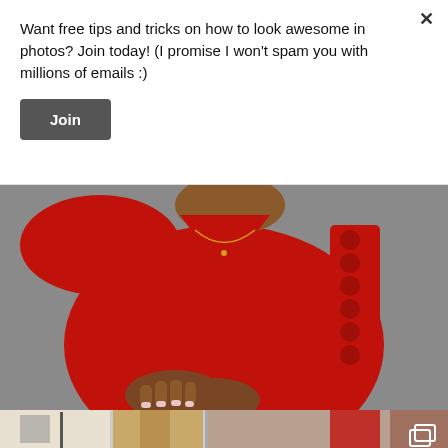Want free tips and tricks on how to look awesome in photos? Join today! (I promise I won't spam you with millions of emails :)
Join
[Figure (photo): Person wearing a red top with pom-pom sleeve detail, hands clasped, gray background]
[Figure (photo): Bottom strip showing partial images of interior/furniture scenes with a copy/stack icon overlay]